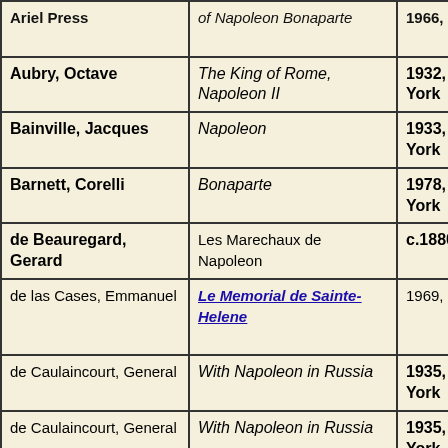| Author | Title | Date/Place | Format |
| --- | --- | --- | --- |
| Ariel Press | of Napoleon Bonaparte | 1966, London | Folio, 2... prints i... |
| Aubry, Octave | The King of Rome, Napoleon II | 1932, New York | Octavo, |
| Bainville, Jacques | Napoleon | 1933, New York | Octavo, |
| Barnett, Corelli | Bonaparte | 1978, New York | Quarto, |
| de Beauregard, Gerard | Les Marechaux de Napoleon | c.1880, Tours | Quarto, |
| de las Cases, Emmanuel | Le Memorial de Sainte-Helene | 1969, Paris | Small Q... Deluxe ... a.e.g. |
| de Caulaincourt, General | With Napoleon in Russia | 1935, New York | Octavo, |
| de Caulaincourt, General | With Napoleon in Russia | 1935, New York | Octavo, |
| de Caulaincourt, General | No Peace with Napoleon! | 1936, New York | Octavo, |
| Chandler, David | Napoleon | 1973, New York | Octavo, |